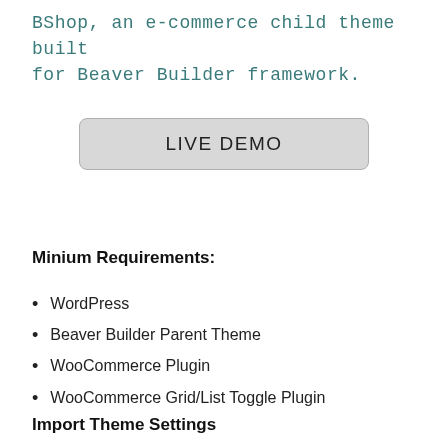BShop, an e-commerce child theme built for Beaver Builder framework.
[Figure (other): LIVE DEMO button with rounded rectangle border and light gray background]
Minium Requirements:
WordPress
Beaver Builder Parent Theme
WooCommerce Plugin
WooCommerce Grid/List Toggle Plugin
Import Theme Settings